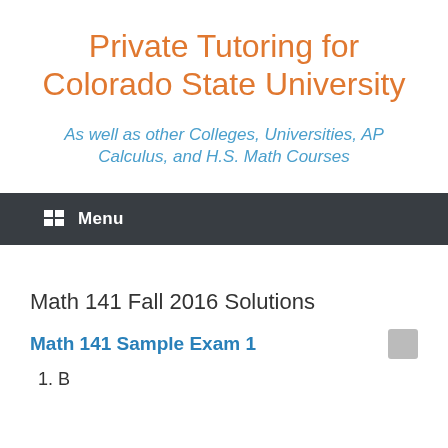Private Tutoring for Colorado State University
As well as other Colleges, Universities, AP Calculus, and H.S. Math Courses
Menu
Math 141 Fall 2016 Solutions
Math 141 Sample Exam 1
1. B